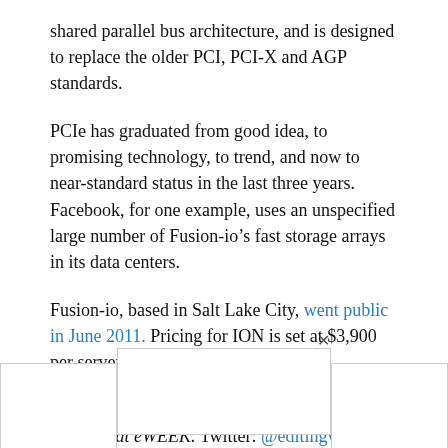shared parallel bus architecture, and is designed to replace the older PCI, PCI-X and AGP standards.
PCIe has graduated from good idea, to promising technology, to trend, and now to near-standard status in the last three years. Facebook, for one example, uses an unspecified large number of Fusion-io’s fast storage arrays in its data centers.
Fusion-io, based in Salt Lake City, went public in June 2011. Pricing for ION is set at $3,900 per server instance, Flynn said.
Chris Preimesberger is Editor for Features and Analysis at eWEEK. Twitter: @editingwhiz